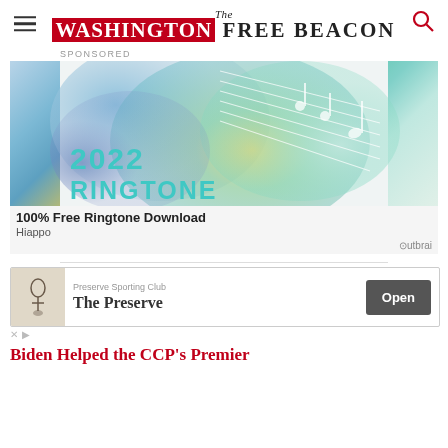The WASHINGTON FREE BEACON
SPONSORED
[Figure (illustration): Advertisement image showing colorful watercolor background with musical notes and staff lines, overlaid with text '2022 RINGTONE' in teal, '100% Free Ringtone Download', 'Hiappo', and 'Outbrain' branding]
[Figure (illustration): Advertisement for 'The Preserve' by Preserve Sporting Club, with a logo icon, 'Open' button in dark grey, and small close/ad icons]
Biden Helped the CCP's Premier